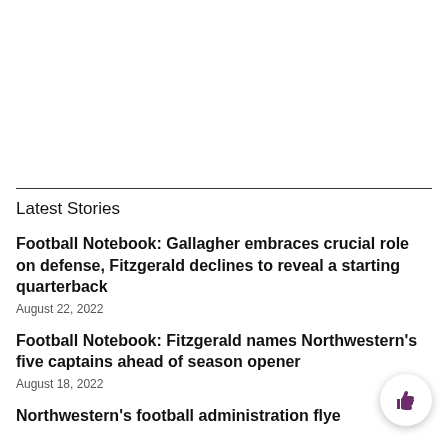Latest Stories
Football Notebook: Gallagher embraces crucial role on defense, Fitzgerald declines to reveal a starting quarterback
August 22, 2022
Football Notebook: Fitzgerald names Northwestern's five captains ahead of season opener
August 18, 2022
Northwestern's football administration flyer...